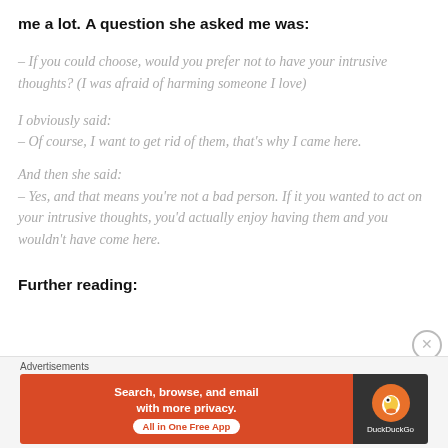me a lot. A question she asked me was:
– If you could choose, would you prefer not to have your intrusive thoughts? (I was afraid of harming someone I love)
I obviously said:
– Of course, I want to get rid of them, that's why I came here.
And then she said:
– Yes, and that means you're not a bad person. If it you wanted to act on your intrusive thoughts, you'd actually enjoy having them and you wouldn't have come here.
Further reading:
Advertisements
[Figure (infographic): DuckDuckGo advertisement banner: orange background on left with text 'Search, browse, and email with more privacy. All in One Free App', dark background on right with DuckDuckGo duck logo and brand name.]